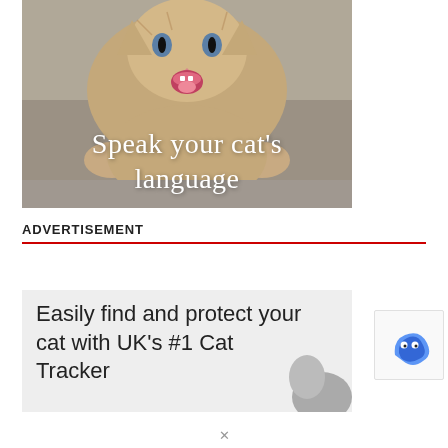[Figure (photo): A kitten with mouth open and blue eyes lying on a grey surface, with overlaid white text reading 'Speak your cat’s language']
ADVERTISEMENT
[Figure (photo): Advertisement banner with light grey background reading 'Easily find and protect your cat with UK’s #1 Cat Tracker' with a partial cat image on the right]
[Figure (logo): reCAPTCHA badge logo in bottom right corner]